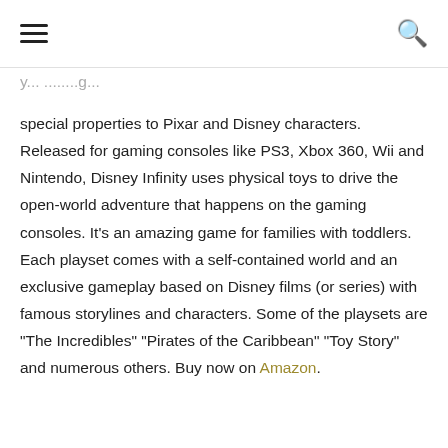[hamburger menu] [search icon]
special properties to Pixar and Disney characters. Released for gaming consoles like PS3, Xbox 360, Wii and Nintendo, Disney Infinity uses physical toys to drive the open-world adventure that happens on the gaming consoles. It's an amazing game for families with toddlers. Each playset comes with a self-contained world and an exclusive gameplay based on Disney films (or series) with famous storylines and characters. Some of the playsets are “The Incredibles” “Pirates of the Caribbean” “Toy Story” and numerous others. Buy now on Amazon.